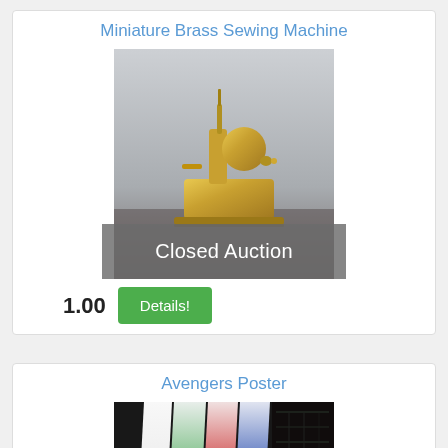Miniature Brass Sewing Machine
[Figure (photo): Photo of a miniature brass sewing machine model against a grey background, with a semi-transparent grey overlay at the bottom reading 'Closed Auction']
1.00
Details!
Avengers Poster
[Figure (photo): Partial photo of an Avengers poster showing colorful vertical gradient bands in green, red/pink, blue, and white against a dark background]